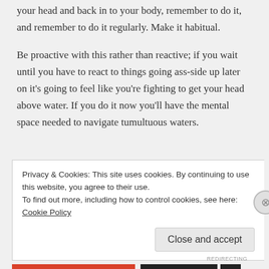your head and back in to your body, remember to do it, and remember to do it regularly. Make it habitual.
Be proactive with this rather than reactive; if you wait until you have to react to things going ass-side up later on it’s going to feel like you’re fighting to get your head above water. If you do it now you’ll have the mental space needed to navigate tumultuous waters.
Privacy & Cookies: This site uses cookies. By continuing to use this website, you agree to their use.
To find out more, including how to control cookies, see here: Cookie Policy